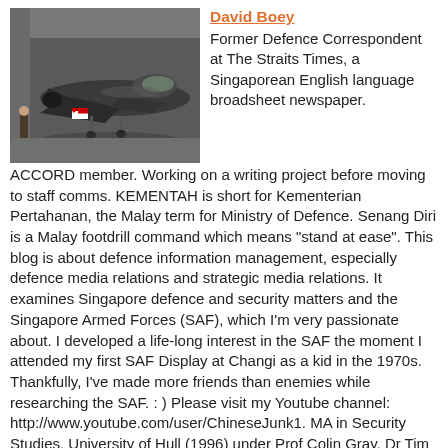[Figure (photo): Photo of a fighter jet aircraft in a hangar, with a small flag visible, profile/avatar image for David Boey]
David Boey
Former Defence Correspondent at The Straits Times, a Singaporean English language broadsheet newspaper. ACCORD member. Working on a writing project before moving to staff comms. KEMENTAH is short for Kementerian Pertahanan, the Malay term for Ministry of Defence. Senang Diri is a Malay footdrill command which means "stand at ease". This blog is about defence information management, especially defence media relations and strategic media relations. It examines Singapore defence and security matters and the Singapore Armed Forces (SAF), which I'm very passionate about. I developed a life-long interest in the SAF the moment I attended my first SAF Display at Changi as a kid in the 1970s. Thankfully, I've made more friends than enemies while researching the SAF. : ) Please visit my Youtube channel: http://www.youtube.com/user/ChineseJunk1. MA in Security Studies, University of Hull (1996) under Prof Colin Gray, Dr Tim Huxley and Dr Eric Grove. US State Dept National Security & Counter Terrorism Program (2004) Reported on: * Flying Eagle: Taiwan 9/21 quake relief * Blue Heron I: Timor Leste * Blue Orchid I: Persian Gulf * Flying Eagle: Meulaboh, Indonesia
View my complete profile